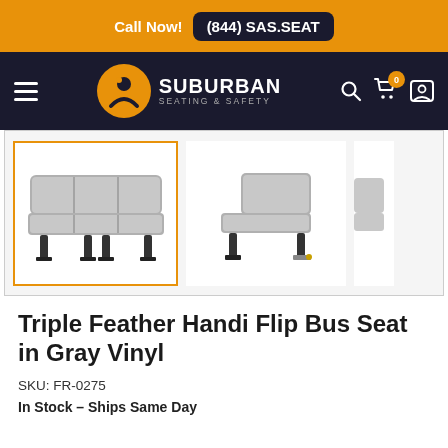Call Now! (844) SAS.SEAT
[Figure (logo): Suburban Seating & Safety logo with navigation bar on dark background]
[Figure (photo): Two views of the Triple Feather Handi Flip Bus Seat in Gray Vinyl. Left image selected with orange border showing front view, right image showing side/rear view.]
Triple Feather Handi Flip Bus Seat in Gray Vinyl
SKU: FR-0275
In Stock – Ships Same Day